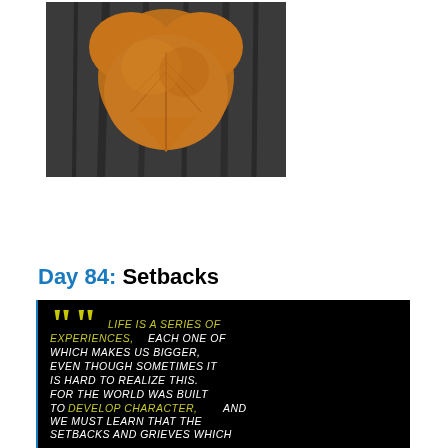[Figure (photo): Photo of an orange autumn leaf on a dark gray/black wooden surface, the leaf is heart-shaped and positioned at the top center of the image]
Day 84: Setbacks
[Figure (photo): Black background image with a motivational quote in chalk-style text. Large yellow quotation marks at top left. Text reads: LIFE IS A SERIES OF EXPERIENCES, EACH ONE OF WHICH MAKES US BIGGER, EVEN THOUGH SOMETIMES IT IS HARD TO REALIZE THIS. FOR THE WORLD WAS BUILT TO DEVELOP CHARACTER, AND WE MUST LEARN THAT THE SETBACKS AND GRIEVES WHICH WE ENDURE HELP US IN OUR MARCHING ONWARD. With closing quotation marks at the end. The phrase LIFE IS A SERIES OF EXPERIENCES and DEVELOP CHARACTER are highlighted in yellow/green, the rest is in white.]